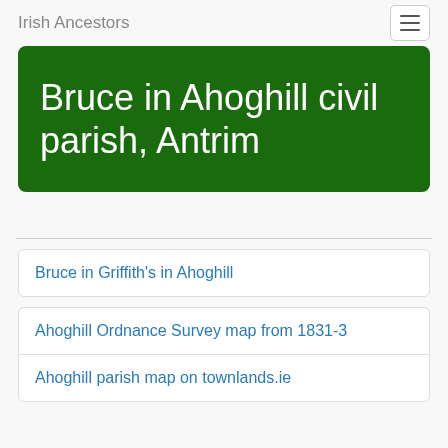Irish Ancestors
Bruce in Ahoghill civil parish, Antrim
Bruce in Griffith's in Ahoghill
Ahoghill Ordnance Survey map from 1831-3
Ahoghill parish map on townlands.ie